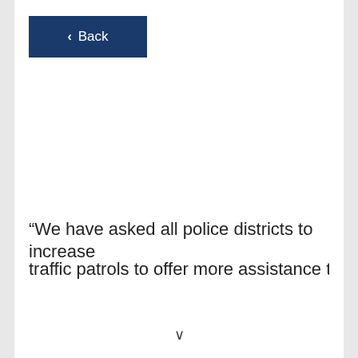[Figure (screenshot): Back navigation button with dark navy blue background, left-pointing chevron arrow and 'Back' text in white]
“We have asked all police districts to increase traffic patrols to offer more assistance to…